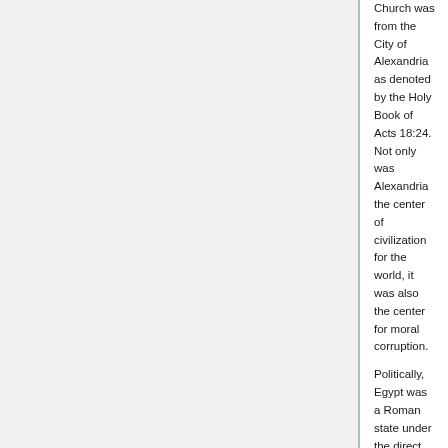Church was from the City of Alexandria as denoted by the Holy Book of Acts 18:24. Not only was Alexandria the center of civilization for the world, it was also the center for moral corruption.
Politically, Egypt was a Roman state under the direct control of the Roman emperor. Alexandrians revolted against the Roman authority of Augustus Caesar. Caesar sent a Roman military army of 20,000 to Alexandria to put a halt to the revolution. The emperor was in dire need of Egypt's wheat. Putting an end to the revolution would not be the only act of Augustus Caesar. He also gave social and religious freedom to the Jews residing in Alexandria. This inequality gave rise to many disputes and fights among the Jews and Alexandrians.